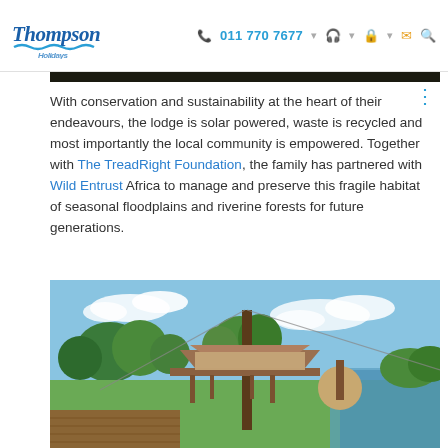Thompsons Holidays — 011 770 7677
With conservation and sustainability at the heart of their endeavours, the lodge is solar powered, waste is recycled and most importantly the local community is empowered. Together with The TreadRight Foundation, the family has partnered with Wild Entrust Africa to manage and preserve this fragile habitat of seasonal floodplains and riverine forests for future generations.
[Figure (photo): Exterior view of a safari lodge built on stilts over wetlands, with a wooden deck, tall trees, thatched roofs, and open grassland/floodplain under a blue sky with clouds.]